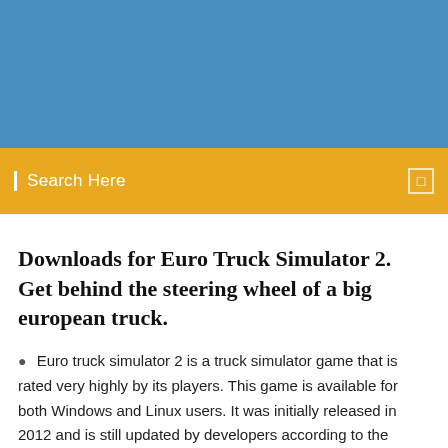[Figure (other): Blue banner header area at the top of the page]
Search Here
Downloads for Euro Truck Simulator 2. Get behind the steering wheel of a big european truck.
Euro truck simulator 2 is a truck simulator game that is rated very highly by its players. This game is available for both Windows and Linux users. It was initially released in 2012 and is still updated by developers according to the needs. This game keeps on maintaining its popularity between its players. In this category,